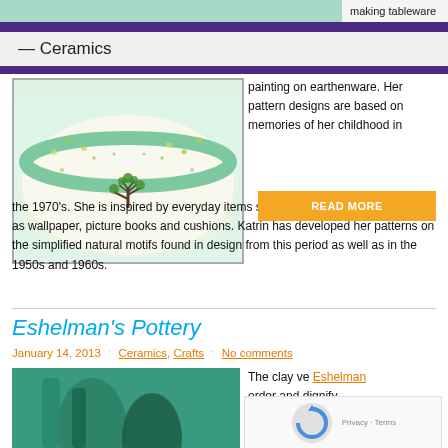[Figure (photo): Top cropped image strip of colorful craft/ceramics]
making tableware
— Ceramics
[Figure (photo): Decorative ceramic bowl with painted tree and dot pattern motif]
painting on earthenware. Her pattern designs are based on memories of her childhood in the 1970's. She is inspired by everyday items she remember from the time such as wallpaper, picture books and cushions. Katrin has developed her patterns on the simplified natural motifs found in design from this period as well as in the 1950s and 1960s.
READ MORE
Eshelman's Pottery
January 14, 2013  :  Ceramics, Crafts  :  No comments
[Figure (photo): Teal/green ceramic pottery vessels]
The clay ve Eshelman order and dignify